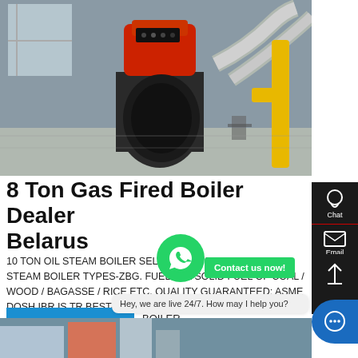[Figure (photo): Industrial gas fired boiler equipment in a factory/warehouse setting, showing a large boiler with red burner, silver pipes, and yellow gas pipe]
8 Ton Gas Fired Boiler Dealer Belarus
10 TON OIL STEAM BOILER SELLER INDUSTRIAL BELARUS. STEAM BOILER TYPES-ZBG. FUEL: OIL SOLID FUEL OF COAL / WOOD / BAGASSE / RICE ETC. QUALITY GUARANTEED: ASME DOSH IBR IS TR BEST-SELLING STEAM BOILERS MODELS: WN ~ 20 TON FIRE TUBE OIL AN FIRE TON~35 TON D TYPE WATE OIL AND GAS DZL 2 TON ~ 10 TON FIRE-WATER TUBE CHAIN GRATE
BOILER
LEARN MORE
Hey, we are live 24/7. How may I help you?
[Figure (photo): Partial bottom image showing industrial equipment or boiler components]